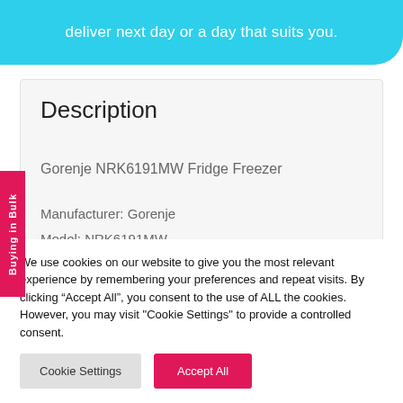deliver next day or a day that suits you.
Description
Gorenje NRK6191MW Fridge Freezer
Manufacturer: Gorenje
Model: NRK6191MW
Style : Free Standing
Buying in Bulk
We use cookies on our website to give you the most relevant experience by remembering your preferences and repeat visits. By clicking “Accept All”, you consent to the use of ALL the cookies. However, you may visit "Cookie Settings" to provide a controlled consent.